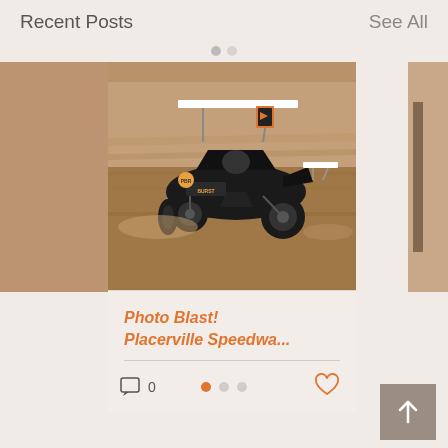Recent Posts   See All
[Figure (photo): Sprint car racing photo on dirt track, center card photo showing a winged sprint car on a brown dirt track]
Photo Blast! Placerville Speedwa...
0
[Figure (other): Pagination dots: 3 dots, first one orange (active), others grey]